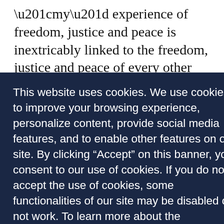“my” experience of freedom, justice and peace is inextricably linked to the freedom, justice and peace of every other person in our county and city, our country
[Figure (screenshot): Cookie consent overlay banner with dark navy blue background. Text reads: 'This website uses cookies. We use cookies to improve your browsing experience, personalize content, provide social media features, and to enable other features on our site. By clicking “Accept” on this banner, you consent to our use of cookies. If you do not accept the use of cookies, some functionalities of our site may be disabled or not work. To learn more about the information we collect and how we use it, please review our [Privacy Policy link]'. Two buttons: 'Decline' (dark navy) and 'Accept' (red).]
Yes, God, we are guilty. We are guilty of placing limits